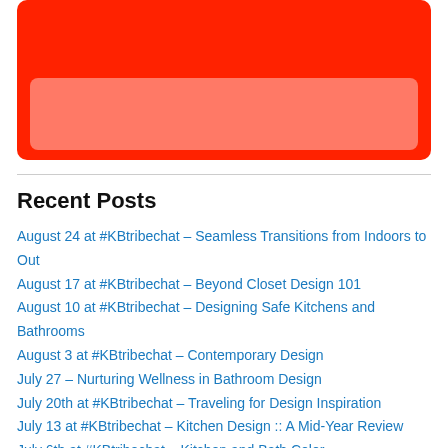[Figure (illustration): Red rounded rectangle with a lighter red/pink inner rectangle overlay, forming a banner or card graphic]
Recent Posts
August 24 at #KBtribechat – Seamless Transitions from Indoors to Out
August 17 at #KBtribechat – Beyond Closet Design 101
August 10 at #KBtribechat – Designing Safe Kitchens and Bathrooms
August 3 at #KBtribechat – Contemporary Design
July 27 – Nurturing Wellness in Bathroom Design
July 20th at #KBtribechat – Traveling for Design Inspiration
July 13 at #KBtribechat – Kitchen Design :: A Mid-Year Review
July 6th at #KBtribechat – Kitchen and Bath Color
June 29 at #KBtribechat – Summer is here!